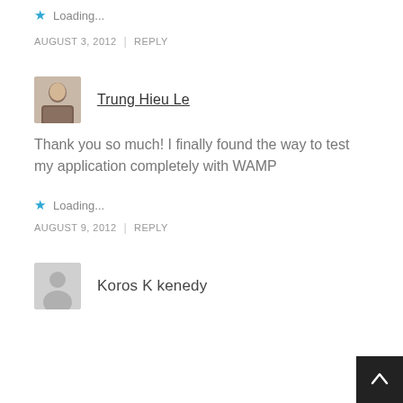Loading...
AUGUST 3, 2012 | REPLY
Trung Hieu Le
Thank you so much! I finally found the way to test my application completely with WAMP
Loading...
AUGUST 9, 2012 | REPLY
Koros K kenedy